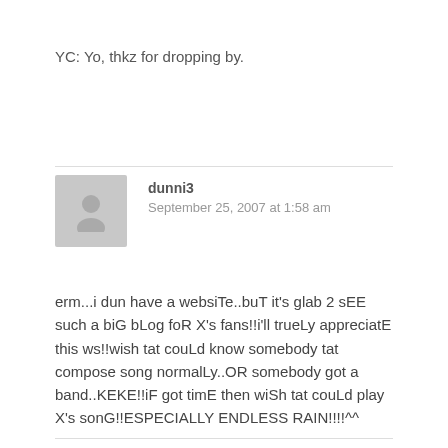YC: Yo, thkz for dropping by.
[Figure (illustration): Grey avatar placeholder icon of a person silhouette]
dunni3
September 25, 2007 at 1:58 am
erm...i dun have a websiTe..buT it's glab 2 sEE such a biG bLog foR X's fans!!i'll trueLy appreciatE this ws!!wish tat couLd know somebody tat compose song normalLy..OR somebody got a band..KEKE!!iF got timE then wiSh tat couLd play X's sonG!!ESPECIALLY ENDLESS RAIN!!!!^^